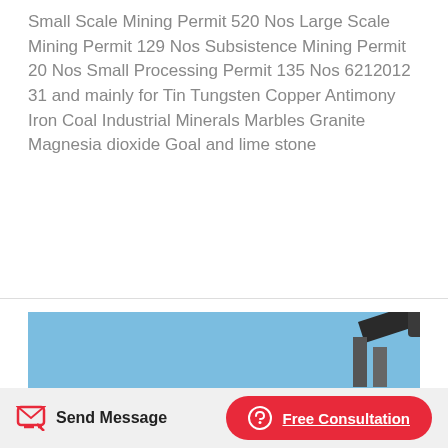Small Scale Mining Permit 520 Nos Large Scale Mining Permit 129 Nos Subsistence Mining Permit 20 Nos Small Processing Permit 135 Nos 6212012 31 and mainly for Tin Tungsten Copper Antimony Iron Coal Industrial Minerals Marbles Granite Magnesia dioxide Goal and lime stone
[Figure (photo): Outdoor mining site with heavy machinery including a large crusher/cone crusher in the foreground center, conveyor belt equipment on the left, and another conveyor/crane structure on the upper right. Clear blue sky, arid desert terrain, and metal safety railings visible.]
Send Message
Free Consultation